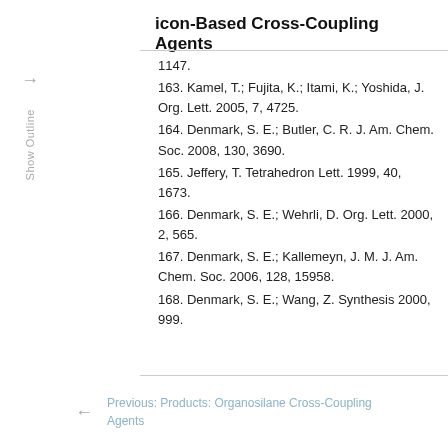icon-Based Cross-Coupling Agents
1147.
163. Kamel, T.; Fujita, K.; Itami, K.; Yoshida, J. Org. Lett. 2005, 7, 4725.
164. Denmark, S. E.; Butler, C. R. J. Am. Chem. Soc. 2008, 130, 3690.
165. Jeffery, T. Tetrahedron Lett. 1999, 40, 1673.
166. Denmark, S. E.; Wehrli, D. Org. Lett. 2000, 2, 565.
167. Denmark, S. E.; Kallemeyn, J. M. J. Am. Chem. Soc. 2006, 128, 15958.
168. Denmark, S. E.; Wang, Z. Synthesis 2000, 999.
Previous: Products: Organosilane Cross-Coupling Agents